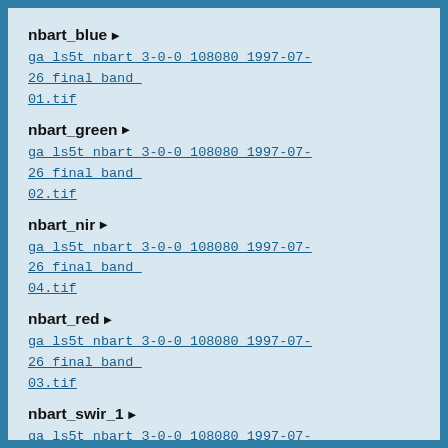nbart_blue ▶
ga_ls5t_nbart_3-0-0_108080_1997-07-26_final_band_01.tif
nbart_green ▶
ga_ls5t_nbart_3-0-0_108080_1997-07-26_final_band_02.tif
nbart_nir ▶
ga_ls5t_nbart_3-0-0_108080_1997-07-26_final_band_04.tif
nbart_red ▶
ga_ls5t_nbart_3-0-0_108080_1997-07-26_final_band_03.tif
nbart_swir_1 ▶
ga_ls5t_nbart_3-0-0_108080_1997-07-26_final_band_05.tif
nbart_swir_2 ▶
ga_ls5t_nbart_3-0-0_108080_1997-07-26_final_band...